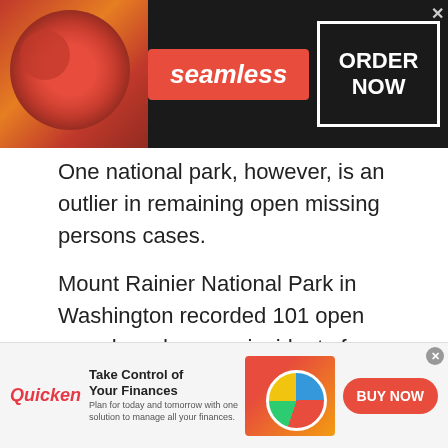[Figure (infographic): Seamless food delivery advertisement banner with pizza image, 'seamless' red button, and 'ORDER NOW' white box with close button]
One national park, however, is an outlier in remaining open missing persons cases.
Mount Rainier National Park in Washington recorded 101 open search-and-rescue incidents from 2018 to 2020 – the most of any national park. That is out of 146 total search-and-rescue incidents, ranking the park with the 13th-most incidents.
Blue Ridge Parkway in Virginia and North Carolina
[Figure (infographic): Quicken financial software advertisement with 'Take Control of Your Finances' headline, woman with laptop image, pie chart graphic, and 'BUY NOW' red button]